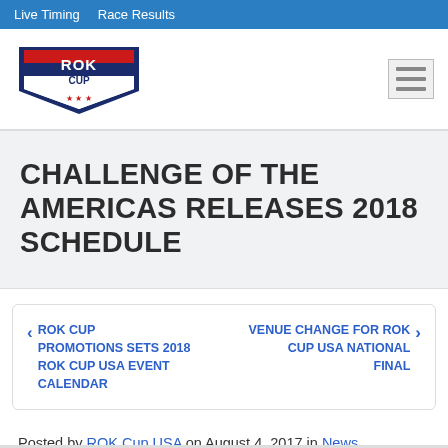Live Timing   Race Results
[Figure (logo): ROK Cup USA logo — red and blue shield emblem with 'ROK CUP' text and USA flag]
CHALLENGE OF THE AMERICAS RELEASES 2018 SCHEDULE
< ROK CUP PROMOTIONS SETS 2018 ROK CUP USA EVENT CALENDAR
VENUE CHANGE FOR ROK CUP USA NATIONAL FINAL >
Posted by ROK Cup USA on August 4, 2017 in News